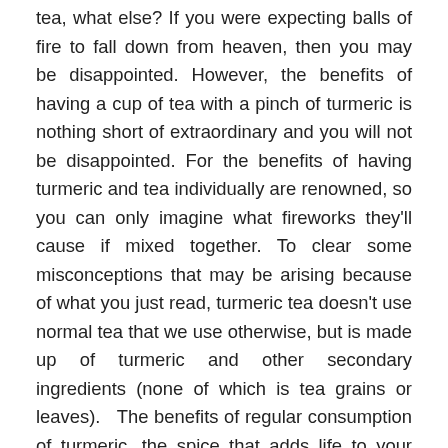tea, what else? If you were expecting balls of fire to fall down from heaven, then you may be disappointed. However, the benefits of having a cup of tea with a pinch of turmeric is nothing short of extraordinary and you will not be disappointed. For the benefits of having turmeric and tea individually are renowned, so you can only imagine what fireworks they'll cause if mixed together. To clear some misconceptions that may be arising because of what you just read, turmeric tea doesn't use normal tea that we use otherwise, but is made up of turmeric and other secondary ingredients (none of which is tea grains or leaves).  The benefits of regular consumption of turmeric, the spice that adds life to your food as well as your body, are now being studied and have been manifested across the world. But the spiciness of turmeric may feel a little too hard on the taste buds for some, and to those whose tummies aren't immune to spicy food but want to encash on the health benefits of turmeric; it's recommended to prepare a tea made out of turmeric. The tea will preserve all the goodness of the spice and will not